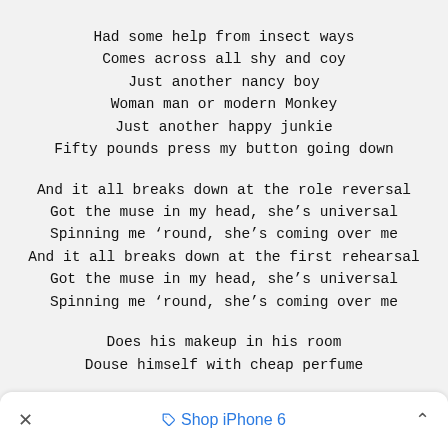Had some help from insect ways
Comes across all shy and coy
Just another nancy boy
Woman man or modern Monkey
Just another happy junkie
Fifty pounds press my button going down

And it all breaks down at the role reversal
Got the muse in my head, she’s universal
Spinning me ‘round, she’s coming over me
And it all breaks down at the first rehearsal
Got the muse in my head, she’s universal
Spinning me ‘round, she’s coming over me

Does his makeup in his room
Douse himself with cheap perfume
×   Shop iPhone 6  ˄